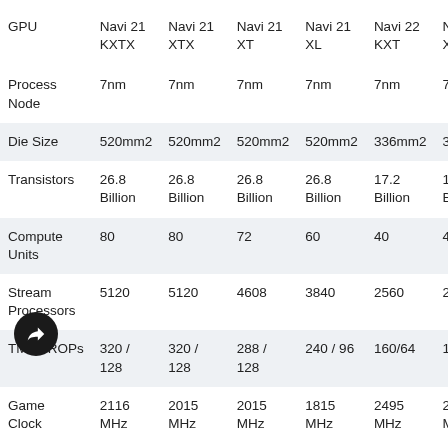| GPU | Navi 21 KXTX | Navi 21 XTX | Navi 21 XT | Navi 21 XL | Navi 22 KXT | N... X... |
| --- | --- | --- | --- | --- | --- | --- |
| Process Node | 7nm | 7nm | 7nm | 7nm | 7nm | 7n... |
| Die Size | 520mm2 | 520mm2 | 520mm2 | 520mm2 | 336mm2 | 3... |
| Transistors | 26.8 Billion | 26.8 Billion | 26.8 Billion | 26.8 Billion | 17.2 Billion | 17... Bi... |
| Compute Units | 80 | 80 | 72 | 60 | 40 | 4... |
| Stream Processors | 5120 | 5120 | 4608 | 3840 | 2560 | 2... |
| TMUs/ROPs | 320 / 128 | 320 / 128 | 288 / 128 | 240 / 96 | 160/64 | 16... |
| Game Clock | 2116 MHz | 2015 MHz | 2015 MHz | 1815 MHz | 2495 MHz | 2... |